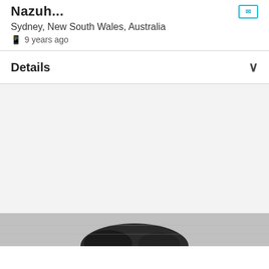Nazuh...
Sydney, New South Wales, Australia
9 years ago
Details
[Figure (photo): Black and white photo of a person partially visible at the bottom of a light gray content area]